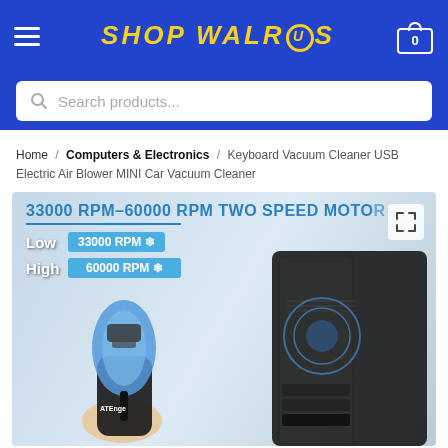SHOP WALRUS
Search products...
Home / Computers & Electronics / Keyboard Vacuum Cleaner USB Electric Air Blower MINI Car Vacuum Cleaner
[Figure (photo): Product image showing a mini USB electric air blower/vacuum cleaner with ATEnge branding being held by a hand, next to a computer tower case. Overlay text reads: 33000 RPM–60000 RPM TWO SPEED MOTOR, Low 33000 RPM (fan icon), High 60000 RPM (fan icon).]